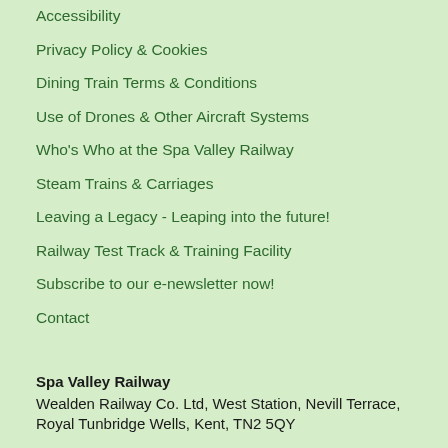Accessibility
Privacy Policy & Cookies
Dining Train Terms & Conditions
Use of Drones & Other Aircraft Systems
Who's Who at the Spa Valley Railway
Steam Trains & Carriages
Leaving a Legacy - Leaping into the future!
Railway Test Track & Training Facility
Subscribe to our e-newsletter now!
Contact
Spa Valley Railway
Wealden Railway Co. Ltd, West Station, Nevill Terrace, Royal Tunbridge Wells, Kent, TN2 5QY